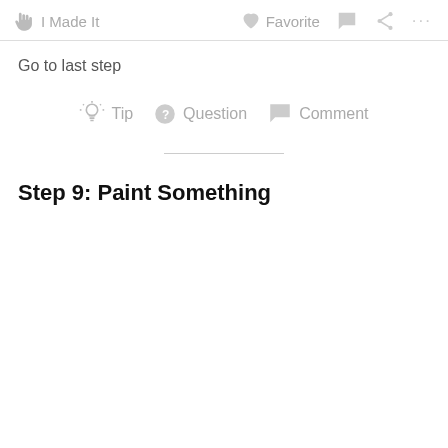I Made It   Favorite   Comment   Share   ...
Go to last step
Tip   Question   Comment
Step 9: Paint Something